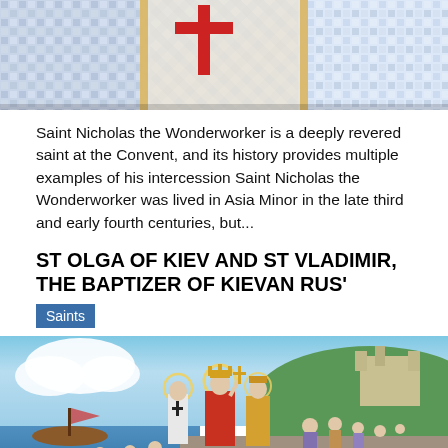[Figure (photo): Top portion of a mosaic or icon depicting Saint Nicholas the Wonderworker with decorative cross pattern in red and blue on white vestments against a patterned background]
Saint Nicholas the Wonderworker is a deeply revered saint at the Convent, and its history provides multiple examples of his intercession Saint Nicholas the Wonderworker was lived in Asia Minor in the late third and early fourth centuries, but...
ST OLGA OF KIEV AND ST VLADIMIR, THE BAPTIZER OF KIEVAN RUS'
Saints
[Figure (illustration): Religious illustration depicting the baptism of Kievan Rus showing saints with halos in ceremonial robes, a bishop figure, crowds of people, a castle on a hill, a Viking ship on water, and a river landscape]